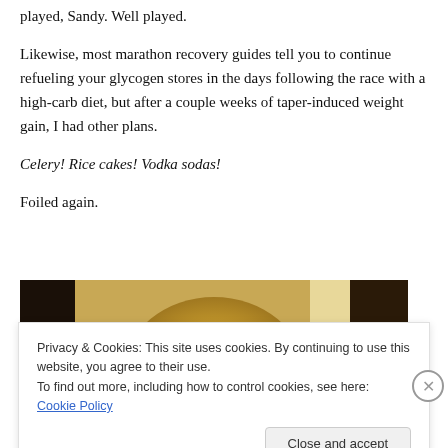played, Sandy. Well played.
Likewise, most marathon recovery guides tell you to continue refueling your glycogen stores in the days following the race with a high-carb diet, but after a couple weeks of taper-induced weight gain, I had other plans.
Celery! Rice cakes! Vodka sodas!
Foiled again.
[Figure (photo): A golden-brown round food item, possibly a rice cake or baked good, against a warm background with dark sides.]
Privacy & Cookies: This site uses cookies. By continuing to use this website, you agree to their use.
To find out more, including how to control cookies, see here: Cookie Policy
Close and accept